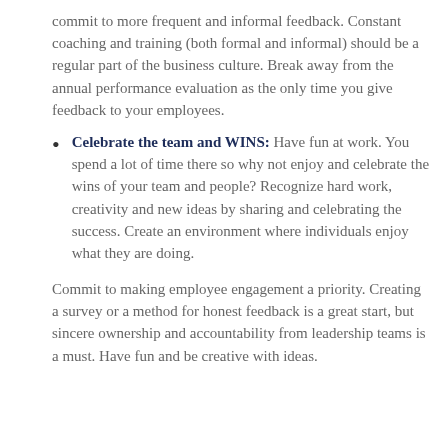commit to more frequent and informal feedback. Constant coaching and training (both formal and informal) should be a regular part of the business culture. Break away from the annual performance evaluation as the only time you give feedback to your employees.
Celebrate the team and WINS: Have fun at work. You spend a lot of time there so why not enjoy and celebrate the wins of your team and people? Recognize hard work, creativity and new ideas by sharing and celebrating the success. Create an environment where individuals enjoy what they are doing.
Commit to making employee engagement a priority. Creating a survey or a method for honest feedback is a great start, but sincere ownership and accountability from leadership teams is a must. Have fun and be creative with ideas.